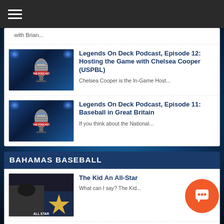Navigation menu
with Brian...
[Figure (photo): Legends On Deck Podcast thumbnail with microphone and stadium lights]
Legends On Deck Podcast, Episode 12: Hosting the Game with Chelsea Cooper (USPBL)
Chelsea Cooper is the In-Game Host...
[Figure (photo): Legends On Deck Podcast thumbnail with microphone and stadium lights]
Legends On Deck Podcast, Episode 11: Baseball in Great Britain
If you think about the National...
BAHAMAS BASEBALL
[Figure (photo): All-Star baseball player photo]
The Kid An All-Star
What can I say? The Kid...
Murray & Lewis No Surprise